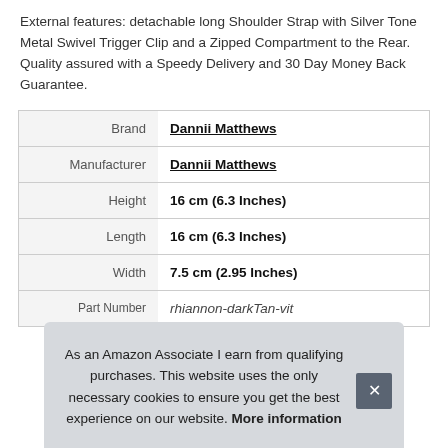External features: detachable long Shoulder Strap with Silver Tone Metal Swivel Trigger Clip and a Zipped Compartment to the Rear. Quality assured with a Speedy Delivery and 30 Day Money Back Guarantee.
| Brand | Dannii Matthews |
| Manufacturer | Dannii Matthews |
| Height | 16 cm (6.3 Inches) |
| Length | 16 cm (6.3 Inches) |
| Width | 7.5 cm (2.95 Inches) |
| Part Number | rhiannon-darkTan-vit |
As an Amazon Associate I earn from qualifying purchases. This website uses the only necessary cookies to ensure you get the best experience on our website. More information